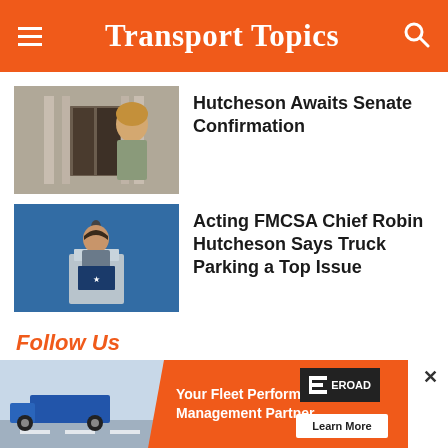Transport Topics
[Figure (photo): Woman standing in front of an ornate building entrance, portrait style photo]
Hutcheson Awaits Senate Confirmation
[Figure (photo): Woman speaking at a podium with blue backdrop at a conference]
Acting FMCSA Chief Robin Hutcheson Says Truck Parking a Top Issue
Follow Us
[Figure (infographic): Social media icons: Facebook, Twitter, YouTube, LinkedIn, RSS feed]
[Figure (infographic): Advertisement banner: Your Fleet Performance Management Partner - EROAD - Learn More, with truck image background]